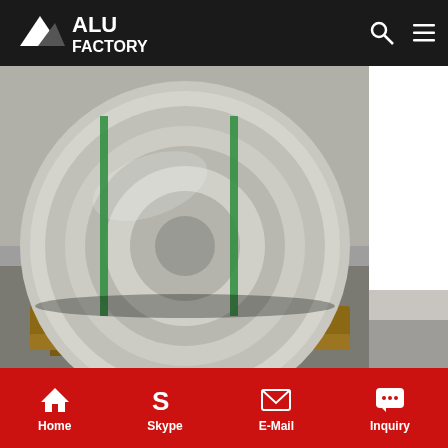ALU FACTORY
[Figure (photo): Large aluminum metal coil roll on wooden pallet in a factory warehouse, wrapped with green straps]
China Aluminum Metal Jacketing for Piping/Duct Polysurlyn Moisture Barrier (PSMB) Jacketing Aluminum coil for equipment protection and heat insulation decoration Henan Xiecheng Aluminium Industry Co., Ltd. US$ 2.000,00-US$ 2.400,00 / ton
Get Price
[Figure (photo): White aluminum sheet/panel on concrete floor with a person standing nearby in heels]
Home  Skype  E-Mail  Inquiry